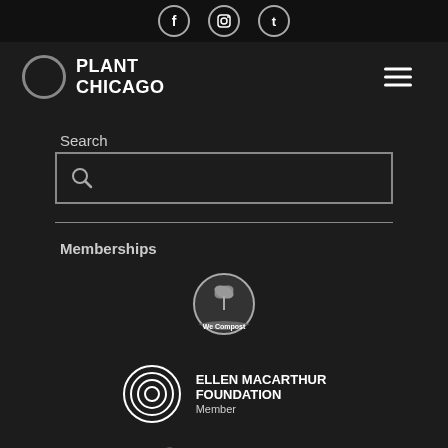[Figure (screenshot): Top navigation bar with social media icons (Facebook, Instagram, Twitter) in circles on dark background]
[Figure (logo): Plant Chicago logo with circle icon and text 'PLANT CHICAGO', with hamburger menu icon on the right]
Search
[Figure (screenshot): Search input box with magnifying glass icon, on dark background]
Memberships
[Figure (logo): We Compost badge/seal logo in grayscale]
[Figure (logo): Ellen MacArthur Foundation Member logo with concentric circles icon]
[Figure (logo): IEC Illinois Environmental Council logo with bird/flame icon and large IEC text]